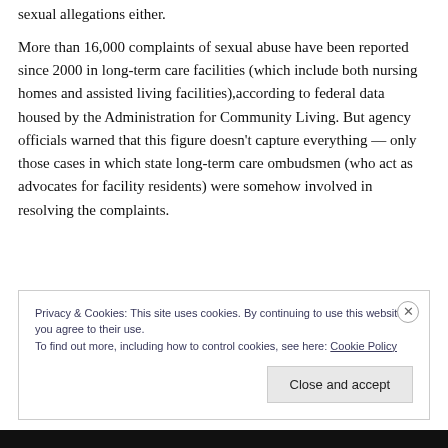sexual allegations either.
More than 16,000 complaints of sexual abuse have been reported since 2000 in long-term care facilities (which include both nursing homes and assisted living facilities),according to federal data housed by the Administration for Community Living. But agency officials warned that this figure doesn’t capture everything — only those cases in which state long-term care ombudsmen (who act as advocates for facility residents) were somehow involved in resolving the complaints.
Privacy & Cookies: This site uses cookies. By continuing to use this website, you agree to their use.
To find out more, including how to control cookies, see here: Cookie Policy